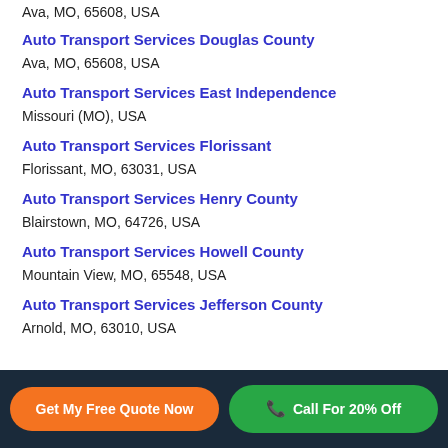Ava, MO, 65608, USA
Auto Transport Services Douglas County
Ava, MO, 65608, USA
Auto Transport Services East Independence
Missouri (MO), USA
Auto Transport Services Florissant
Florissant, MO, 63031, USA
Auto Transport Services Henry County
Blairstown, MO, 64726, USA
Auto Transport Services Howell County
Mountain View, MO, 65548, USA
Auto Transport Services Jefferson County
Arnold, MO, 63010, USA
Get My Free Quote Now | Call For 20% Off